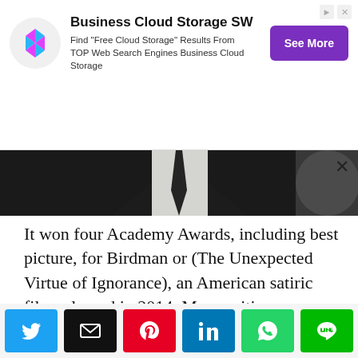[Figure (infographic): Advertisement banner for Business Cloud Storage SW with a colorful diamond-pattern logo, bold title text, description text, and a purple 'See More' button.]
[Figure (photo): A cropped photograph showing the upper body of a person in a dark suit and tie, appearing to be at a formal event. The background is blurred.]
It won four Academy Awards, including best picture, for Birdman or (The Unexpected Virtue of Ignorance), an American satiric film released in 2014. Many critics acclaimed it as a masterpiece, while some spectators found it pretentious and baffling. It’s a sophisticated and eccentric movie.
[Figure (infographic): Social media sharing buttons row: Twitter (blue), Email (black), Pinterest (red), LinkedIn (blue), WhatsApp (green), Line (green).]